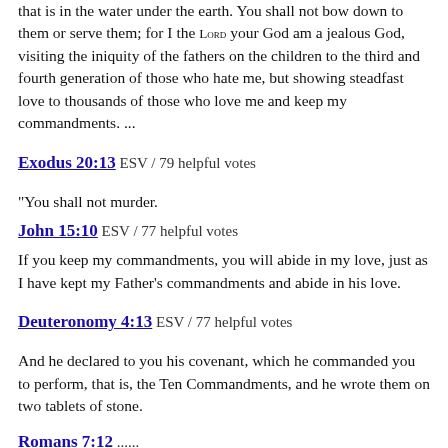that is in the water under the earth. You shall not bow down to them or serve them; for I the LORD your God am a jealous God, visiting the iniquity of the fathers on the children to the third and fourth generation of those who hate me, but showing steadfast love to thousands of those who love me and keep my commandments. ...
Exodus 20:13 ESV / 79 helpful votes
“You shall not murder.
John 15:10 ESV / 77 helpful votes
If you keep my commandments, you will abide in my love, just as I have kept my Father’s commandments and abide in his love.
Deuteronomy 4:13 ESV / 77 helpful votes
And he declared to you his covenant, which he commanded you to perform, that is, the Ten Commandments, and he wrote them on two tablets of stone.
Romans 7:12 ...